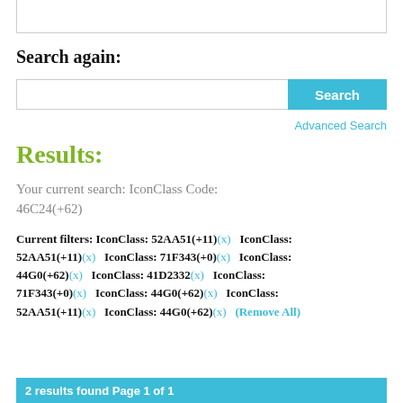Search again:
Search | Advanced Search
Results:
Your current search: IconClass Code:
46C24(+62)
Current filters: IconClass: 52AA51(+11)(x)  IconClass: 52AA51(+11)(x)  IconClass: 71F343(+0)(x)  IconClass: 44G0(+62)(x)  IconClass: 41D2332(x)  IconClass: 71F343(+0)(x)  IconClass: 44G0(+62)(x)  IconClass: 52AA51(+11)(x)  IconClass: 44G0(+62)(x)  (Remove All)
2 results found Page 1 of 1